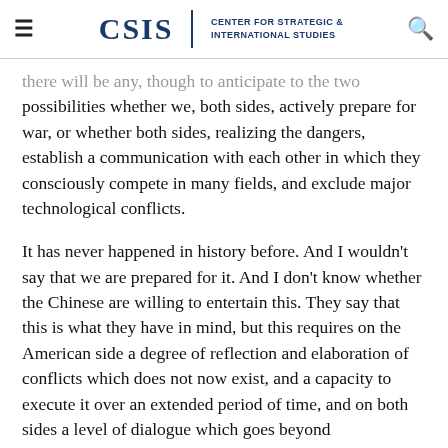CSIS | CENTER FOR STRATEGIC & INTERNATIONAL STUDIES
there will be any, though to anticipate to the two possibilities whether we, both sides, actively prepare for war, or whether both sides, realizing the dangers, establish a communication with each other in which they consciously compete in many fields, and exclude major technological conflicts.
It has never happened in history before. And I wouldn't say that we are prepared for it. And I don't know whether the Chinese are willing to entertain this. They say that this is what they have in mind, but this requires on the American side a degree of reflection and elaboration of conflicts which does not now exist, and a capacity to execute it over an extended period of time, and on both sides a level of dialogue which goes beyond maneuvering the other side into a disadvantageous position. This is the novel feature of contemporary international positions,